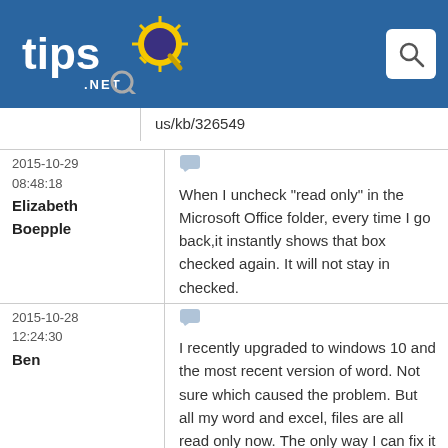[Figure (logo): tips.NET logo with sun/magnifying glass icon on blue header bar]
us/kb/326549
2015-10-29
08:48:18
Elizabeth Boepple
When I uncheck "read only" in the Microsoft Office folder, every time I go back,it instantly shows that box checked again. It will not stay in checked.
2015-10-28
12:24:30
Ben
I recently upgraded to windows 10 and the most recent version of word. Not sure which caused the problem. But all my word and excel, files are all read only now. The only way I can fix it is creating new files copy and paste. Very frustrating I have a lot files. I wish Microsoft would address this I